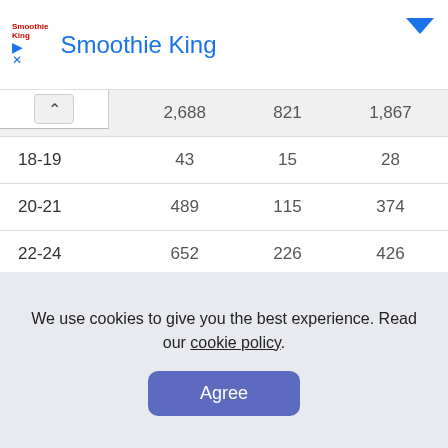Smoothie King
|  |  |  |  |
| --- | --- | --- | --- |
| Total | 2,688 | 821 | 1,867 |
| 18-19 | 43 | 15 | 28 |
| 20-21 | 489 | 115 | 374 |
| 22-24 | 652 | 226 | 426 |
| 25-29 | 490 | 172 | 318 |
| 30-34 | 350 | 110 | 240 |
| 35-39 | 241 | 70 | 171 |
We use cookies to give you the best experience. Read our cookie policy.